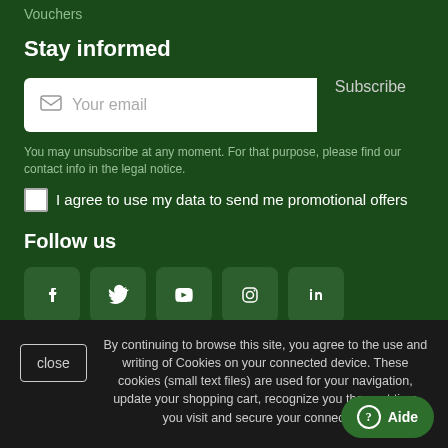Vouchers
Stay informed
[Figure (screenshot): Email subscription input box with envelope icon and 'Your email' placeholder, and a 'Subscribe' button to the right]
You may unsubscribe at any moment. For that purpose, please find our contact info in the legal notice.
I agree to use my data to send me promotional offers
Follow us
[Figure (infographic): Row of 5 social media icon boxes: Facebook, Twitter, YouTube, Instagram, LinkedIn]
By continuing to browse this site, you agree to the use and writing of Cookies on your connected device. These cookies (small text files) are used for your navigation, update your shopping cart, recognize you the next time you visit and secure your connection.
close
Aide